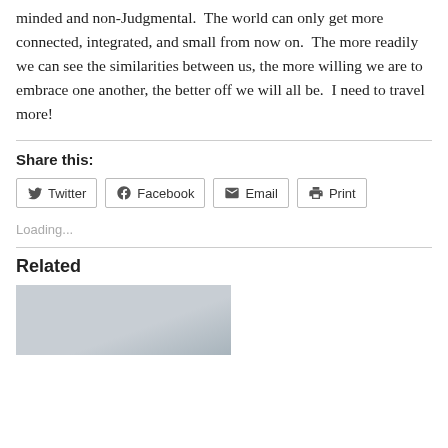minded and non-Judgmental.  The world can only get more connected, integrated, and small from now on.  The more readily we can see the similarities between us, the more willing we are to embrace one another, the better off we will all be.  I need to travel more!
Share this:
Twitter  Facebook  Email  Print
Loading...
Related
[Figure (photo): A grey/silver toned photograph, partially visible at the bottom of the page.]